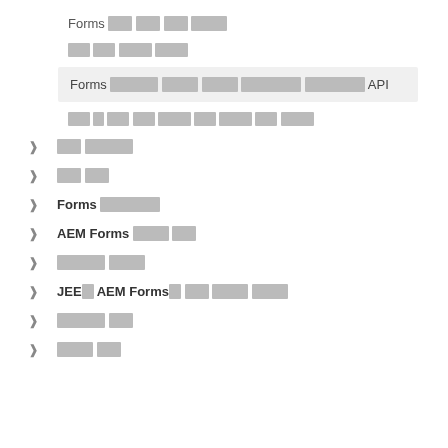Forms 관련 모든 문서 보기
최신 문서 보기
Forms 관련하여 최근 업데이트 된 문서들의 목록과 API
이와 같은 방법 외에 여러가지 방법 여러 경우의 수가 존재
기본 관련자
관련 문자
Forms 기술문서
AEM Forms 관련 문서
릴리스 관련자
JEE에 AEM Forms에 설치 및 배포 가이드
릴리스 노트
문서 모든